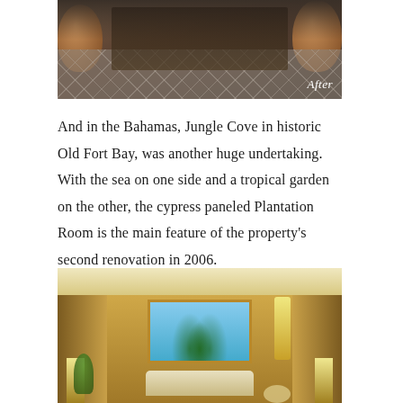[Figure (photo): Top portion of an outdoor terrace or entrance area with large terracotta planters, dark stone tile flooring, and glass doors/windows in the background. An 'After' label appears in the lower right corner of the image.]
And in the Bahamas, Jungle Cove in historic Old Fort Bay, was another huge undertaking. With the sea on one side and a tropical garden on the other, the cypress paneled Plantation Room is the main feature of the property's second renovation in 2006.
[Figure (photo): Interior of the cypress paneled Plantation Room at Jungle Cove showing warm wood-paneled walls, a large window with palm trees and sea view, comfortable seating with sofas and armchairs, decorative lamps, and lush tropical plant in the corner.]